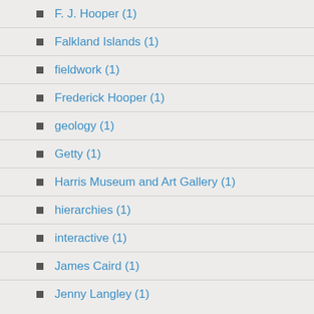F. J. Hooper (1)
Falkland Islands (1)
fieldwork (1)
Frederick Hooper (1)
geology (1)
Getty (1)
Harris Museum and Art Gallery (1)
hierarchies (1)
interactive (1)
James Caird (1)
Jenny Langley (1)